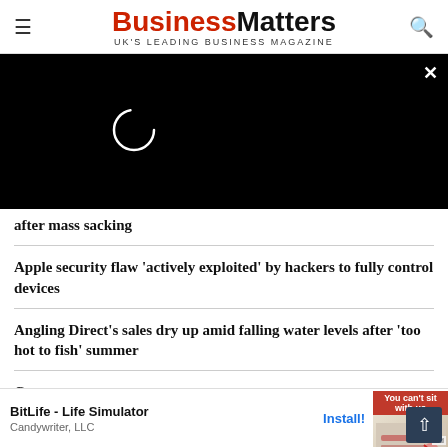BusinessMatters — UK'S LEADING BUSINESS MAGAZINE
[Figure (screenshot): Black video player overlay with loading spinner circle and close (×) button in top-right corner]
after mass sacking
Apple security flaw 'actively exploited' by hackers to fully control devices
Angling Direct's sales dry up amid falling water levels after 'too hot to fish' summer
Con…
[Figure (screenshot): Mobile ad for BitLife - Life Simulator by Candywriter, LLC with Install! button and game screenshot thumbnail with 'Ad' label]